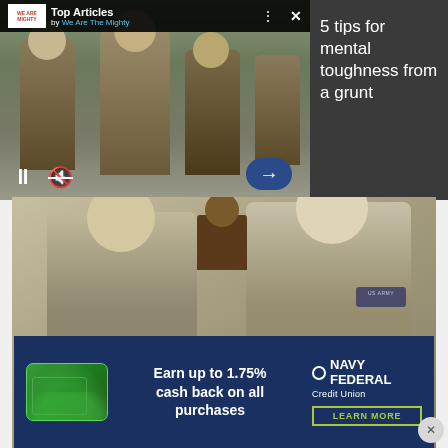[Figure (screenshot): Top Articles video banner from We Are The Mighty showing soldiers marching in military gear with video playback controls]
5 tips for mental toughness from a grunt
[Figure (photo): Two soldiers in camouflage uniforms holding a trophy and an award plaque for Dakota National Guard Best Warrior Competition Soldier/Airman of the Year]
[Figure (screenshot): Navy Federal Credit Union advertisement: Earn up to 1.75% cash back on all purchases, with LEARN MORE button]